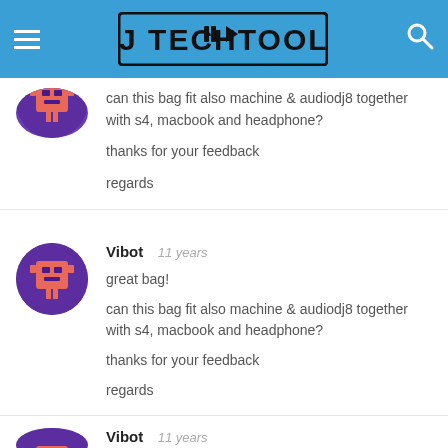DJ TechTools
can this bag fit also machine & audiodj8 together with s4, macbook and headphone?

thanks for your feedback

regards
Vibot  11 years

great bag!

can this bag fit also machine & audiodj8 together with s4, macbook and headphone?

thanks for your feedback

regards
Vibot  11 years